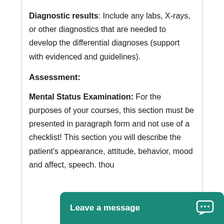Diagnostic results: Include any labs, X-rays, or other diagnostics that are needed to develop the differential diagnoses (support with evidenced and guidelines).
Assessment:
Mental Status Examination: For the purposes of your courses, this section must be presented in paragraph form and not use of a checklist! This section you will describe the patient's appearance, attitude, behavior, mood and affect, speech. thou...